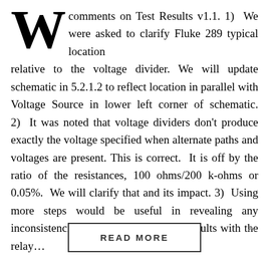W comments on Test Results v1.1. 1) We were asked to clarify Fluke 289 typical location relative to the voltage divider. We will update schematic in 5.2.1.2 to reflect location in parallel with Voltage Source in lower left corner of schematic. 2) It was noted that voltage dividers don't produce exactly the voltage specified when alternate paths and voltages are present. This is correct. It is off by the ratio of the resistances, 100 ohms/200 k-ohms or 0.05%. We will clarify that and its impact. 3) Using more steps would be useful in revealing any inconsistencies. Except for 4.5.3, test results with the relay...
READ MORE